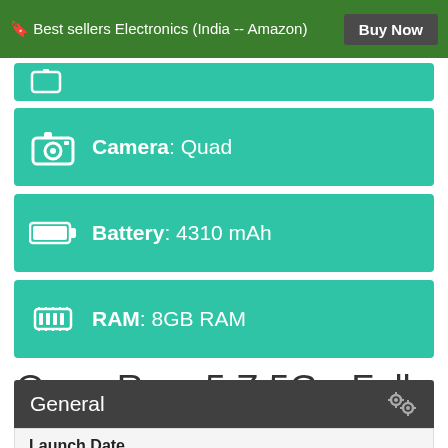🔖 Best sellers Electronics (India -- Amazon)  Buy Now
Camera: Quad
Battery: 4310 mAh
RAM: 8GB RAM
Oppo Reno5 Z 5G - Full Specifications & Features
General
| Launch Date |
| --- |